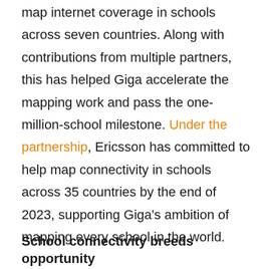map internet coverage in schools across seven countries. Along with contributions from multiple partners, this has helped Giga accelerate the mapping work and pass the one-million-school milestone. Under the partnership, Ericsson has committed to help map connectivity in schools across 35 countries by the end of 2023, supporting Giga's ambition of mapping every school in the world.
School connectivity breeds opportunity